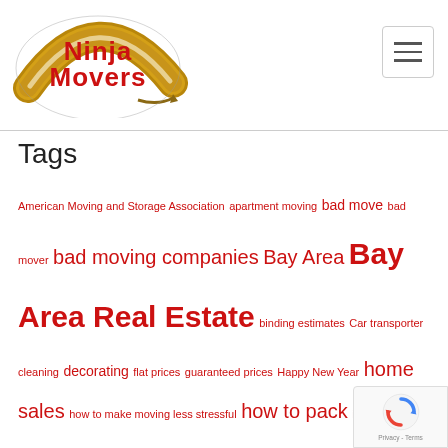[Figure (logo): Ninja Movers logo with red and gold text in an arc shape with a brown arrow]
[Figure (other): Hamburger menu button with three horizontal lines]
Tags
American Moving and Storage Association apartment moving bad move bad mover bad moving companies Bay Area Bay Area Real Estate binding estimates Car transporter cleaning decorating flat prices guaranteed prices Happy New Year home sales how to make moving less stressful how to pack interstate moving inventory IRS local moves long distance moves movers moving moving across country moving brokers moving companies moving costs moving